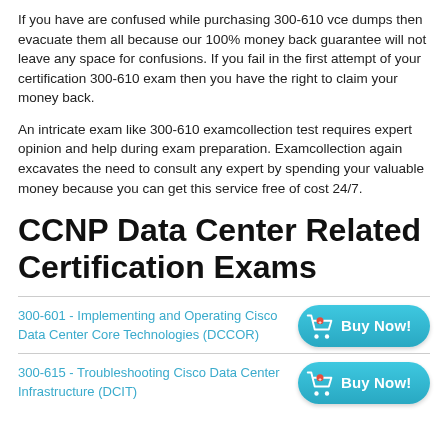If you have are confused while purchasing 300-610 vce dumps then evacuate them all because our 100% money back guarantee will not leave any space for confusions. If you fail in the first attempt of your certification 300-610 exam then you have the right to claim your money back.
An intricate exam like 300-610 examcollection test requires expert opinion and help during exam preparation. Examcollection again excavates the need to consult any expert by spending your valuable money because you can get this service free of cost 24/7.
CCNP Data Center Related Certification Exams
300-601 - Implementing and Operating Cisco Data Center Core Technologies (DCCOR)
300-615 - Troubleshooting Cisco Data Center Infrastructure (DCIT)